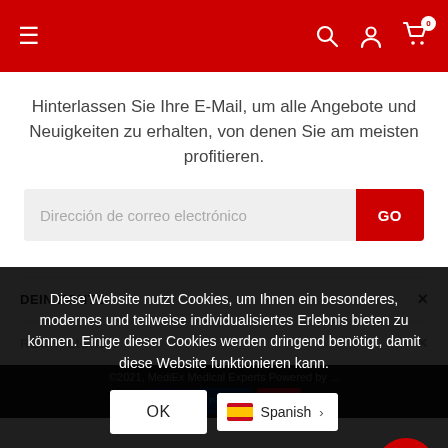MediEx Medical Experts - navigation header with hamburger menu, search, account, and cart icons
Hinterlassen Sie Ihre E-Mail, um alle Angebote und Neuigkeiten zu erhalten, von denen Sie am meisten profitieren.
Dirección de correo electrónico
DEIN KONTO
RECHTLICHES
©2021, MediEx Medical Experts Powered by ...
Diese Website nutzt Cookies, um Ihnen ein besonderes, modernes und teilweise individualisiertes Erlebnis bieten zu können. Einige dieser Cookies werden dringend benötigt, damit diese Website funktionieren kann.